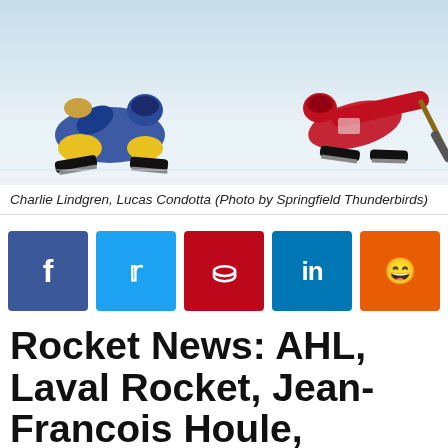[Figure (photo): Hockey players on ice, one wearing blue/yellow gear sliding, another in red reaching with stick]
Charlie Lindgren, Lucas Condotta (Photo by Springfield Thunderbirds)
[Figure (infographic): Social media share buttons: Facebook, Twitter, Pinterest, LinkedIn, Reddit]
Rocket News: AHL, Laval Rocket, Jean-Francois Houle, Danick Martel, Sami Niku, Springfield Thunderbirds, Calder Cup Playoffs, Montreal